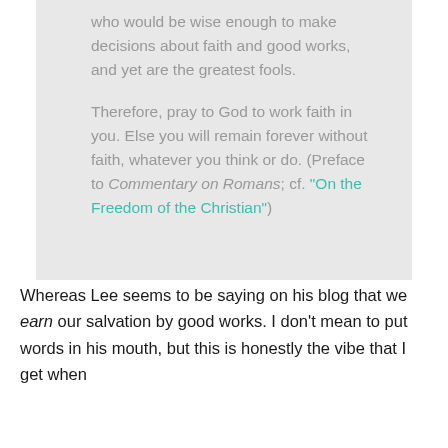who would be wise enough to make decisions about faith and good works, and yet are the greatest fools.

Therefore, pray to God to work faith in you. Else you will remain forever without faith, whatever you think or do. (Preface to Commentary on Romans; cf. "On the Freedom of the Christian")
Whereas Lee seems to be saying on his blog that we earn our salvation by good works. I don't mean to put words in his mouth, but this is honestly the vibe that I get when